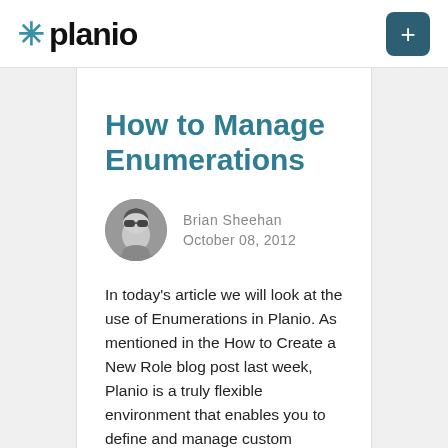planio
How to Manage Enumerations
Brian Sheehan
October 08, 2012
In today's article we will look at the use of Enumerations in Planio. As mentioned in the How to Create a New Role blog post last week, Planio is a truly flexible environment that enables you to define and manage custom options across a broad